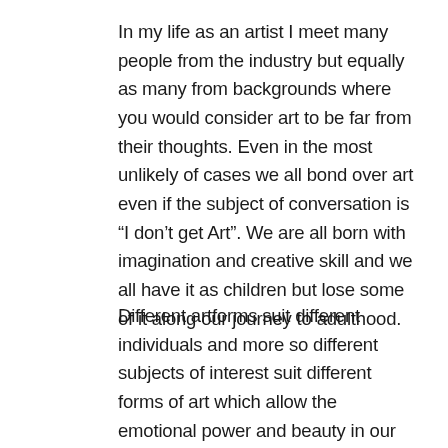In my life as an artist I meet many people from the industry but equally as many from backgrounds where you would consider art to be far from their thoughts. Even in the most unlikely of cases we all bond over art even if the subject of conversation is “I don’t get Art”. We are all born with imagination and creative skill and we all have it as children but lose some of it along our journey to adulthood.
Different artforms suit different individuals and more so different subjects of interest suit different forms of art which allow the emotional power and beauty in our minds become a visual object.
Art Experiences is the only platform to date which connects professional artists with individuals interested to find or further develop their skills in an art field they prefer or are simply curious about. Art Experiences are not generic courses or workshops they are specifically tailored